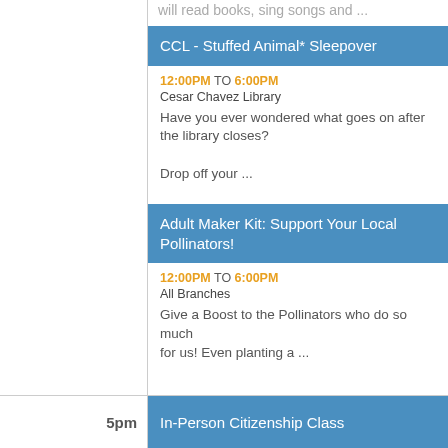will read books, sing songs and ...
CCL - Stuffed Animal* Sleepover
12:00PM TO 6:00PM
Cesar Chavez Library
Have you ever wondered what goes on after the library closes?

Drop off your ...
Adult Maker Kit: Support Your Local Pollinators!
12:00PM TO 6:00PM
All Branches
Give a Boost to the Pollinators who do so much for us! Even planting a ...
In-Person Citizenship Class